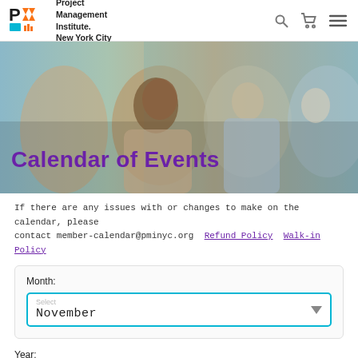Project Management Institute. New York City
[Figure (photo): Group of business professionals sitting in a meeting or conference, smiling and engaged, with the title 'Calendar of Events' overlaid in bold purple text]
Calendar of Events
If there are any issues with or changes to make on the calendar, please contact member-calendar@pminyc.org  Refund Policy  Walk-in Policy
Month:
Select
November
Year: